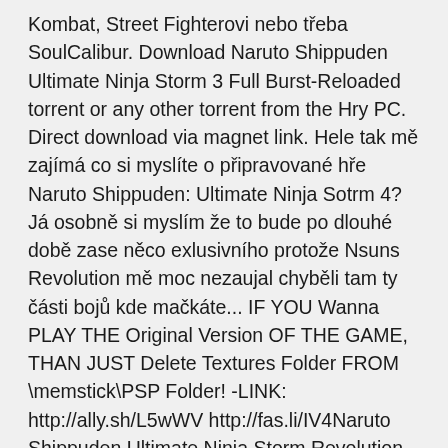Kombat, Street Fighterovi nebo třeba SoulCalibur. Download Naruto Shippuden Ultimate Ninja Storm 3 Full Burst-Reloaded torrent or any other torrent from the Hry PC. Direct download via magnet link. Hele tak mě zajímá co si myslíte o připravované hře Naruto Shippuden: Ultimate Ninja Sotrm 4? Já osobně si myslím že to bude po dlouhé době zase něco exlusivního protože Nsuns Revolution mě moc nezaujal chyběli tam ty části bojů kde mačkáte... IF YOU Wanna PLAY THE Original Version OF THE GAME, THAN JUST Delete Textures Folder FROM \memstick\PSP Folder! -LINK: http://ally.sh/L5wWV http://fas.li/IV4Naruto Shippuden Ultimate Ninja Storm Revolution PC Lag Fix...https://youtube.com/watch13. 3. 2015107 tis. zhlédnutí--- - - - Please READ - - - --- Download Enbseries here ::http://qia...ao/acb7128c/ if the link i/ Free Download Naruto Shippuden Ultimate Ninja Storm 4 PC Full... https://siberuang.com/naruto-shippuden-ultimate-ninja-storm-